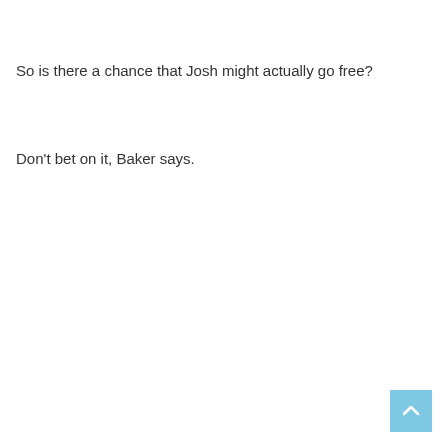So is there a chance that Josh might actually go free?
Don't bet on it, Baker says.